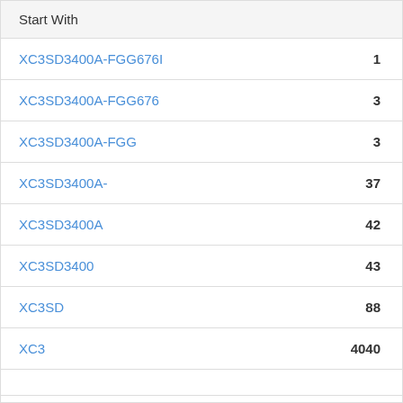| Start With |  |
| --- | --- |
| XC3SD3400A-FGG676I | 1 |
| XC3SD3400A-FGG676 | 3 |
| XC3SD3400A-FGG | 3 |
| XC3SD3400A- | 37 |
| XC3SD3400A | 42 |
| XC3SD3400 | 43 |
| XC3SD | 88 |
| XC3 | 4040 |